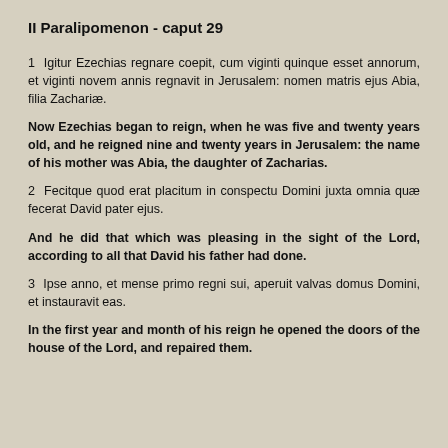II Paralipomenon - caput 29
1  Igitur Ezechias regnare coepit, cum viginti quinque esset annorum, et viginti novem annis regnavit in Jerusalem: nomen matris ejus Abia, filia Zachariæ.
Now Ezechias began to reign, when he was five and twenty years old, and he reigned nine and twenty years in Jerusalem: the name of his mother was Abia, the daughter of Zacharias.
2  Fecitque quod erat placitum in conspectu Domini juxta omnia quæ fecerat David pater ejus.
And he did that which was pleasing in the sight of the Lord, according to all that David his father had done.
3  Ipse anno, et mense primo regni sui, aperuit valvas domus Domini, et instauravit eas.
In the first year and month of his reign he opened the doors of the house of the Lord, and repaired them.